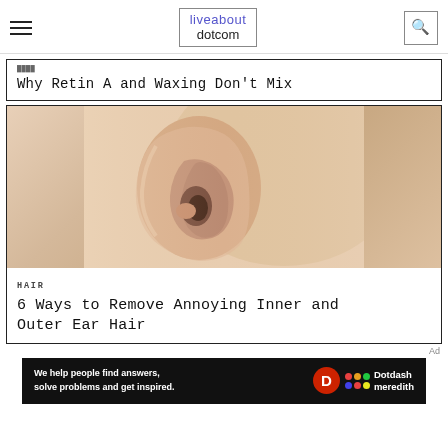liveabout dotcom
Why Retin A and Waxing Don't Mix
[Figure (photo): Close-up photograph of a human ear on light skin background]
HAIR
6 Ways to Remove Annoying Inner and Outer Ear Hair
We help people find answers, solve problems and get inspired. Dotdash meredith